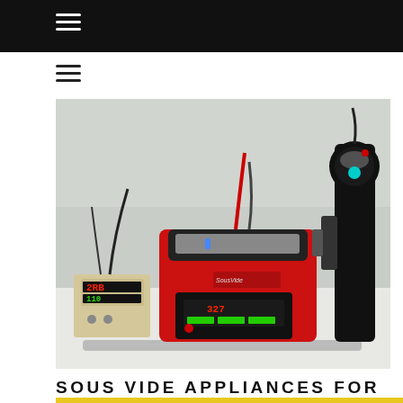☰
[Figure (photo): Sous vide appliances on a kitchen counter: a red sous vide machine with digital display in the center, a small temperature controller with red LED digits on the left, and a black immersion circulator wand on the right, all on a white surface against a stainless steel background.]
SOUS VIDE APPLIANCES FOR THE HOME K...